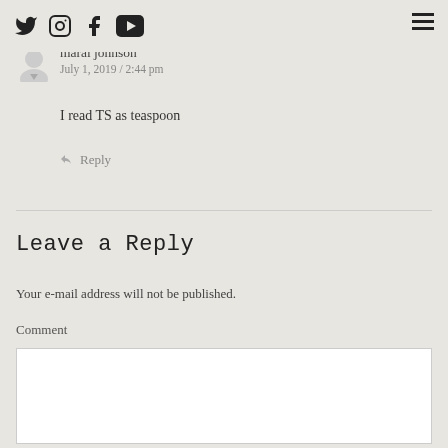Social media icons and hamburger menu
maral johnson
July 1, 2019 / 2:44 pm
I read TS as teaspoon
Reply
Leave a Reply
Your e-mail address will not be published.
Comment